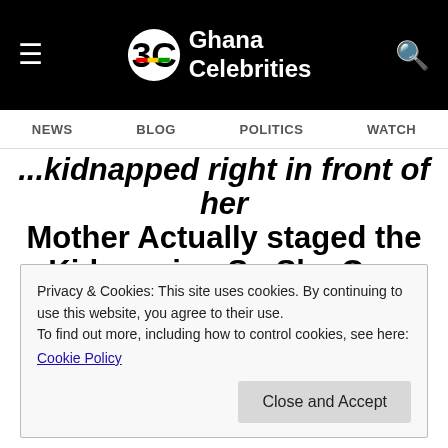Ghana Celebrities
NEWS  BLOG  POLITICS  WATCH
...kidnapped right in front of her Mother Actually staged the Kidnapping So She Can Spend Some Time With her 23-Year Old Boyfriend
12/18/2019  10:17  am
By Nii Oridey, Entertainment Editor
Privacy & Cookies: This site uses cookies. By continuing to use this website, you agree to their use.
To find out more, including how to control cookies, see here:
Cookie Policy
Close and Accept